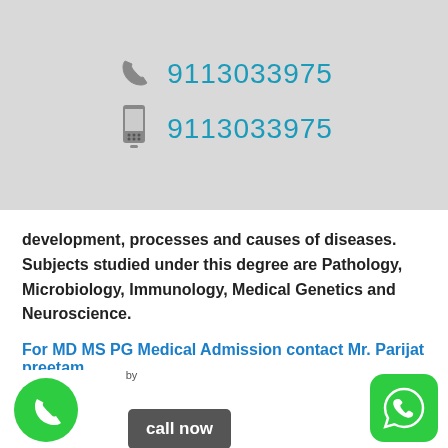[Figure (infographic): Header bar with phone icon and number 9113033975, and mobile/keypad icon with number 9113033975]
development, processes and causes of diseases. Subjects studied under this degree are Pathology, Microbiology, Immunology, Medical Genetics and Neuroscience.
For MD MS PG Medical Admission contact Mr. Parijat preetam.
Call on –7406337778".
You can also look for our new website for further details- www.mdmsadmission2016.in
[Figure (infographic): Footer bar with green phone call button, 'by' label, 'call now' button, and WhatsApp icon on right]